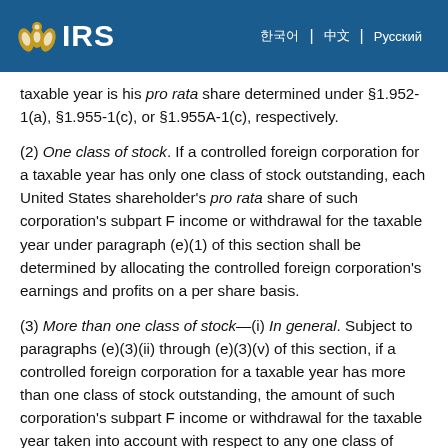IRS
taxable year is his pro rata share determined under §1.952-1(a), §1.955-1(c), or §1.955A-1(c), respectively.
(2) One class of stock. If a controlled foreign corporation for a taxable year has only one class of stock outstanding, each United States shareholder's pro rata share of such corporation's subpart F income or withdrawal for the taxable year under paragraph (e)(1) of this section shall be determined by allocating the controlled foreign corporation's earnings and profits on a per share basis.
(3) More than one class of stock—(i) In general. Subject to paragraphs (e)(3)(ii) through (e)(3)(v) of this section, if a controlled foreign corporation for a taxable year has more than one class of stock outstanding, the amount of such corporation's subpart F income or withdrawal for the taxable year taken into account with respect to any one class of stock for purposes of paragraph (e)(1) of this section shall be that amount which bears the same ratio to the total of such subpart F income or withdrawal for